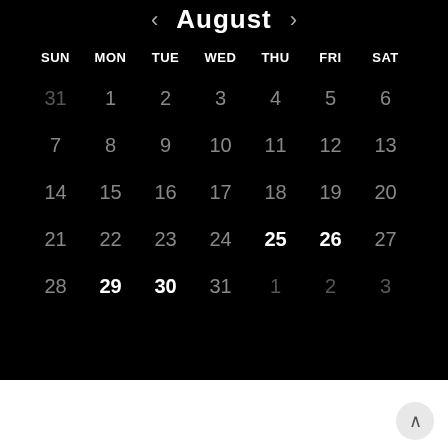[Figure (other): August calendar on black background showing month view with days SUN through SAT and dates 31 Jul through 3 Sep. Dates 25, 26 (Thu, Fri) and 29, 30 (Mon, Tue) are highlighted in white/bold. A scroll-to-top button appears at bottom right.]